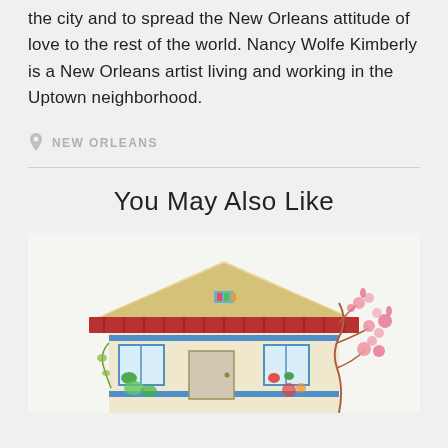the city and to spread the New Orleans attitude of love to the rest of the world. Nancy Wolfe Kimberly is a New Orleans artist living and working in the Uptown neighborhood.
NEW ORLEANS
You May Also Like
[Figure (illustration): Watercolor illustration of a New Orleans style house with a triangular roof, red awning/roof details, blue trim, colorful windows, and pink flowering branches on the right side]